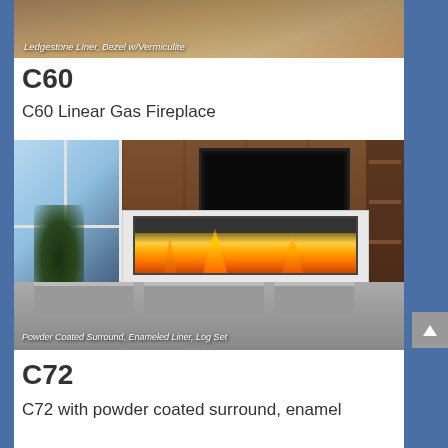[Figure (photo): Top partial photo of a fireplace with Ledgestone Liner and Bezel with Vermiculite finish, warm tones]
Ledgestone Liner, Bezel w/Vermiculite
C60
C60 Linear Gas Fireplace
[Figure (photo): Living room with C60 linear gas fireplace featuring white powder coated surround, enameled liner, log set, wall-mounted TV above, large windows on left, bookshelves on right, grey sectional sofa in foreground]
Powder Coated Surround, Enameled Liner, Log Set
C72
C72 with powder coated surround, enamel